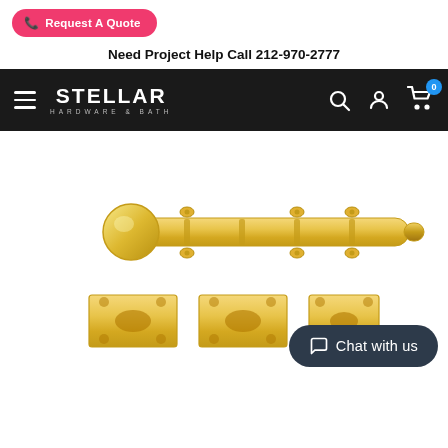[Figure (logo): Pink 'Request A Quote' button with phone icon]
Need Project Help Call 212-970-2777
[Figure (logo): Stellar Hardware & Bath logo on black navigation bar with hamburger menu, search icon, account icon, and cart icon with badge 0]
[Figure (photo): Gold/brass door bolt latch hardware product with three keeper plates shown below]
Chat with us